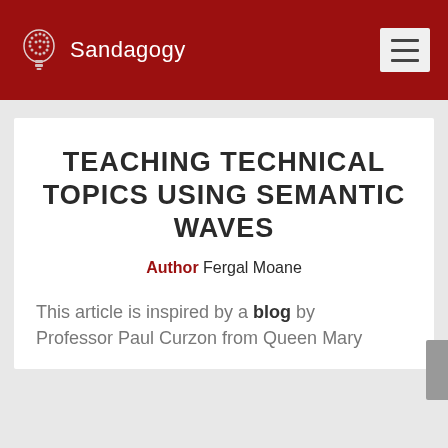Sandagogy
TEACHING TECHNICAL TOPICS USING SEMANTIC WAVES
Author Fergal Moane
This article is inspired by a blog by Professor Paul Curzon from Queen Mary